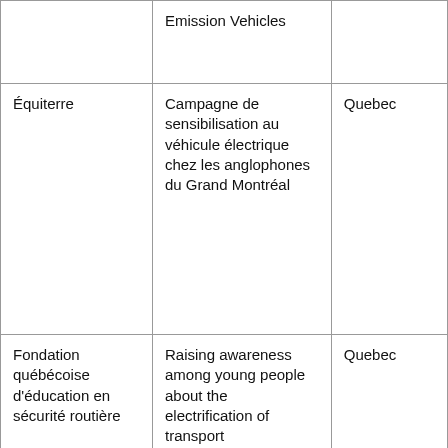|  | Emission Vehicles |  |
| Équiterre | Campagne de sensibilisation au véhicule électrique chez les anglophones du Grand Montréal | Quebec |
| Fondation québécoise d'éducation en sécurité routière | Raising awareness among young people about the electrification of transport | Quebec |